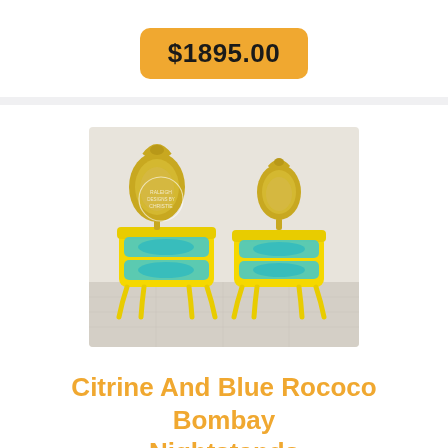$1895.00
[Figure (photo): Two matching yellow and turquoise Rococo Bombay nightstands with ornate gold-framed mirrors on top, featuring curved cabriole legs and decorative carved details, photographed in a studio setting.]
Citrine And Blue Rococo Bombay Nightstands